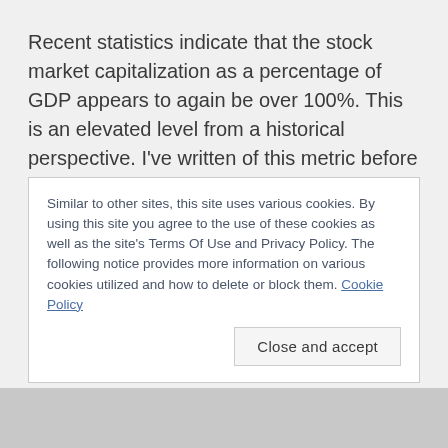Recent statistics indicate that the stock market capitalization as a percentage of GDP appears to again be over 100%. This is an elevated level from a historical perspective. I've written of this metric before in an article titled “Does Warren Buffett’s Market Metric Still Apply?” I feel that for many reasons this is an important …
Similar to other sites, this site uses various cookies. By using this site you agree to the use of these cookies as well as the site's Terms Of Use and Privacy Policy. The following notice provides more information on various cookies utilized and how to delete or block them. Cookie Policy
Close and accept